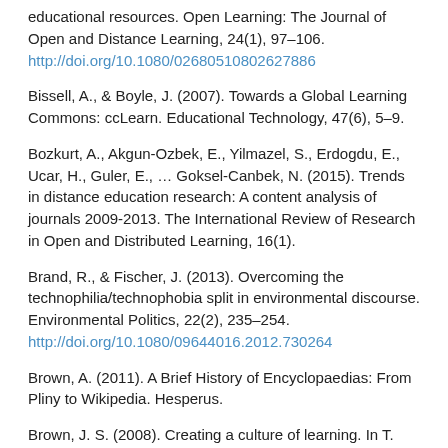educational resources. Open Learning: The Journal of Open and Distance Learning, 24(1), 97–106. http://doi.org/10.1080/02680510802627886
Bissell, A., & Boyle, J. (2007). Towards a Global Learning Commons: ccLearn. Educational Technology, 47(6), 5–9.
Bozkurt, A., Akgun-Ozbek, E., Yilmazel, S., Erdogdu, E., Ucar, H., Guler, E., … Goksel-Canbek, N. (2015). Trends in distance education research: A content analysis of journals 2009-2013. The International Review of Research in Open and Distributed Learning, 16(1).
Brand, R., & Fischer, J. (2013). Overcoming the technophilia/technophobia split in environmental discourse. Environmental Politics, 22(2), 235–254. http://doi.org/10.1080/09644016.2012.730264
Brown, A. (2011). A Brief History of Encyclopaedias: From Pliny to Wikipedia. Hesperus.
Brown, J. S. (2008). Creating a culture of learning. In T. Iiyoshi & M. S. V. Kumar (Ed.), Opening Up Education: The Collective Advancement of Education Through Open Technology, Open Content, and Open Knowledge: Opening up education. Edited